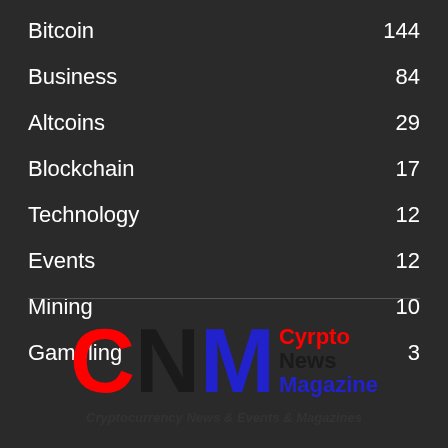Bitcoin  144
Business  84
Altcoins  29
Blockchain  17
Technology  12
Events  12
Mining  10
Gambling  3
[Figure (logo): Cyrpto News Magazine logo with CNM letters in red, black, blue and tagline: Cryptocurrency News & Events & Magazines]